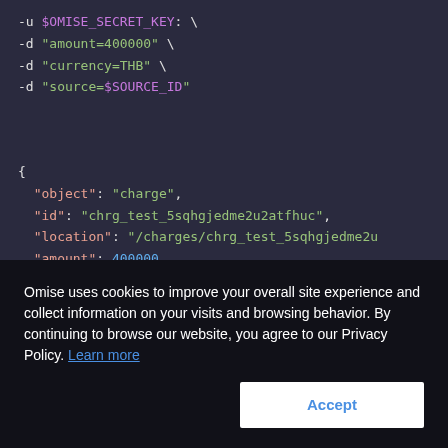[Figure (screenshot): Code block showing curl command with -u $OMISE_SECRET_KEY, -d amount=400000, -d currency=THB, -d source=$SOURCE_ID]
[Figure (screenshot): JSON response code block with object: charge, id: chrg_test_5sqhgjedme2u2atfhuc, location: /charges/chrg_test_5sqhgjedme2u..., amount: 400000, net: 392938]
Omise uses cookies to improve your overall site experience and collect information on your visits and browsing behavior. By continuing to browse our website, you agree to our Privacy Policy. Learn more